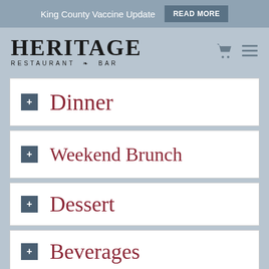King County Vaccine Update  READ MORE
HERITAGE RESTAURANT & BAR
+ Dinner
+ Weekend Brunch
+ Dessert
+ Beverages